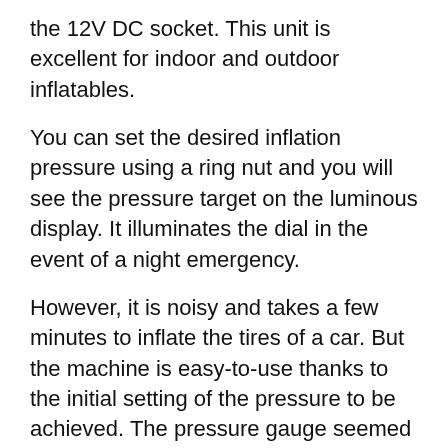the 12V DC socket. This unit is excellent for indoor and outdoor inflatables.
You can set the desired inflation pressure using a ring nut and you will see the pressure target on the luminous display. It illuminates the dial in the event of a night emergency.
However, it is noisy and takes a few minutes to inflate the tires of a car. But the machine is easy-to-use thanks to the initial setting of the pressure to be achieved. The pressure gauge seemed to us accurate. You can also use it for other items to inflate, swimming pools, mattresses, or other items for the beach.